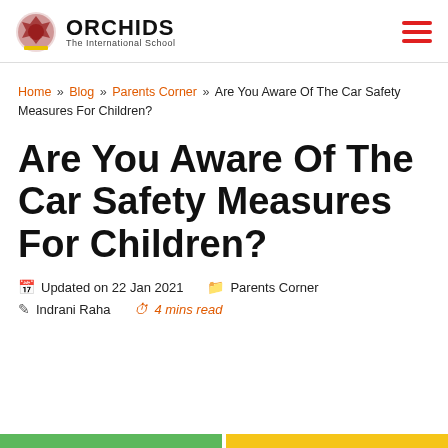ORCHIDS The International School
Home » Blog » Parents Corner » Are You Aware Of The Car Safety Measures For Children?
Are You Aware Of The Car Safety Measures For Children?
Updated on 22 Jan 2021   Parents Corner
Indrani Raha   4 mins read